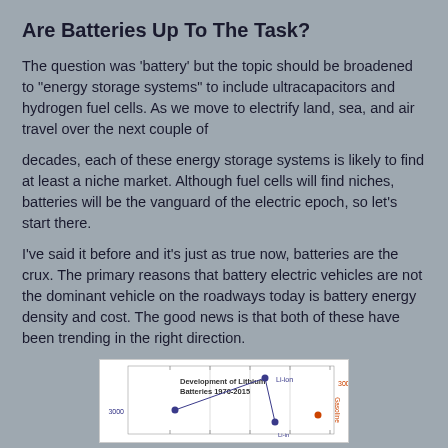Are Batteries Up To The Task?
The question was 'battery' but the topic should be broadened to "energy storage systems" to include ultracapacitors and hydrogen fuel cells. As we move to electrify land, sea, and air travel over the next couple of
decades, each of these energy storage systems is likely to find at least a niche market. Although fuel cells will find niches, batteries will be the vanguard of the electric epoch, so let's start there.
I've said it before and it's just as true now, batteries are the crux. The primary reasons that battery electric vehicles are not the dominant vehicle on the roadways today is battery energy density and cost. The good news is that both of these have been trending in the right direction.
[Figure (scatter-plot): Scatter plot showing development of lithium batteries from 1970 to 2015, with Li-ion label and data points in dark blue. A second axis on the right shows Gasoline values in red/orange. Y-axis left shows value around 3000, right axis shows 300.]